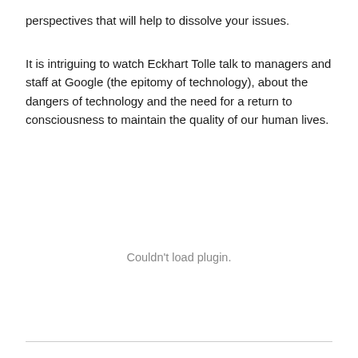perspectives that will help to dissolve your issues.
It is intriguing to watch Eckhart Tolle talk to managers and staff at Google (the epitomy of technology), about the dangers of technology and the need for a return to consciousness to maintain the quality of our human lives.
[Figure (other): Couldn't load plugin. placeholder area]